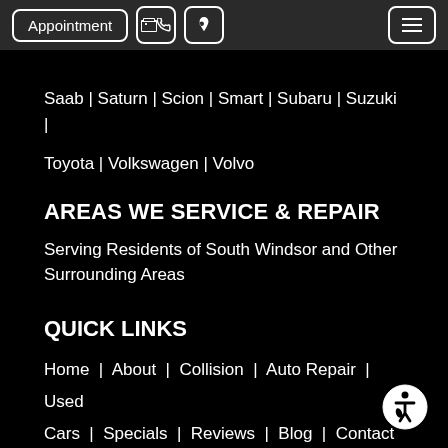Appointment | [phone icon] | [location icon] | [hamburger menu]
Saab | Saturn | Scion | Smart | Subaru | Suzuki |
Toyota | Volkswagen | Volvo
AREAS WE SERVICE & REPAIR
Serving Residents of South Windsor and Other Surrounding Areas
QUICK LINKS
Home | About | Collision | Auto Repair | Used Cars | Specials | Reviews | Blog | Contact